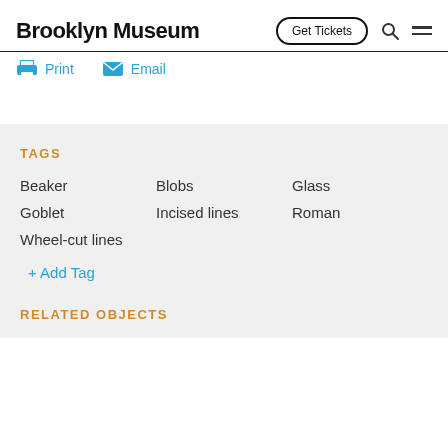Brooklyn Museum | Get Tickets
Print  Email
TAGS
Beaker
Blobs
Glass
Goblet
Incised lines
Roman
Wheel-cut lines
+ Add Tag
RELATED OBJECTS